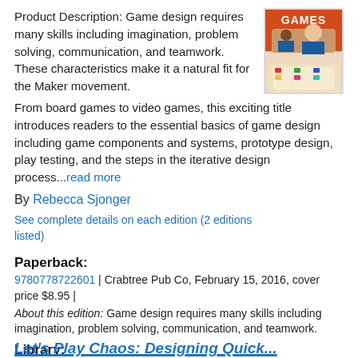Product Description: Game design requires many skills including imagination, problem solving, communication, and teamwork. These characteristics make it a natural fit for the Maker movement. From board games to video games, this exciting title introduces readers to the essential basics of game design including game components and systems, prototype design, play testing, and the steps in the iterative design process...read more
[Figure (photo): Book cover for a game design book showing two children playing a board game, with the word GAMES visible, colorful cover]
By Rebecca Sjonger
See complete details on each edition (2 editions listed)
Paperback:
9780778722601 | Crabtree Pub Co, February 15, 2016, cover price $8.95 | About this edition: Game design requires many skills including imagination, problem solving, communication, and teamwork.
Library:
9780778722489 | Crabtree Pub Co, February 15, 2016, cover price $27.60
Let's Play Chaos: Designing Quick...